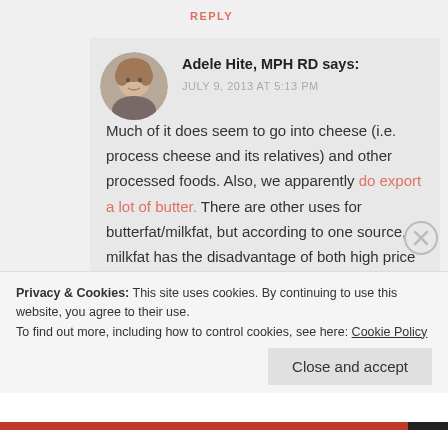REPLY
[Figure (photo): Circular avatar photo of Adele Hite, a woman with short light brown hair]
Adele Hite, MPH RD says:
JULY 9, 2013 AT 5:13 PM
Much of it does seem to go into cheese (i.e. process cheese and its relatives) and other processed foods. Also, we apparently do export a lot of butter. There are other uses for butterfat/milkfat, but according to one source, milkfat has the disadvantage of both high price and limited functionality
Privacy & Cookies: This site uses cookies. By continuing to use this website, you agree to their use.
To find out more, including how to control cookies, see here: Cookie Policy
Close and accept